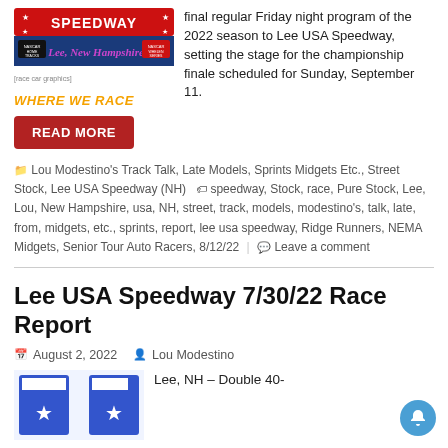[Figure (logo): Lee USA Speedway logo with 'WHERE WE RACE' text below]
final regular Friday night program of the 2022 season to Lee USA Speedway, setting the stage for the championship finale scheduled for Sunday, September 11.
READ MORE
Lou Modestino's Track Talk, Late Models, Sprints Midgets Etc., Street Stock, Lee USA Speedway (NH)   speedway, Stock, race, Pure Stock, Lee, Lou, New Hampshire, usa, NH, street, track, models, modestino's, talk, late, from, midgets, etc., sprints, report, lee usa speedway, Ridge Runners, NEMA Midgets, Senior Tour Auto Racers, 8/12/22  Leave a comment
Lee USA Speedway 7/30/22 Race Report
August 2, 2022   Lou Modestino
[Figure (illustration): Checkered flags illustration]
Lee, NH – Double 40-